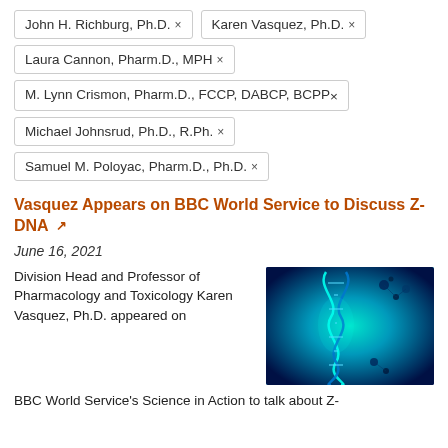John H. Richburg, Ph.D. ×
Karen Vasquez, Ph.D. ×
Laura Cannon, Pharm.D., MPH ×
M. Lynn Crismon, Pharm.D., FCCP, DABCP, BCPP ×
Michael Johnsrud, Ph.D., R.Ph. ×
Samuel M. Poloyac, Pharm.D., Ph.D. ×
Vasquez Appears on BBC World Service to Discuss Z-DNA
June 16, 2021
Division Head and Professor of Pharmacology and Toxicology Karen Vasquez, Ph.D. appeared on BBC World Service's Science in Action to talk about Z-
[Figure (photo): Illustration of a glowing cyan/blue DNA double helix against a dark blue background]